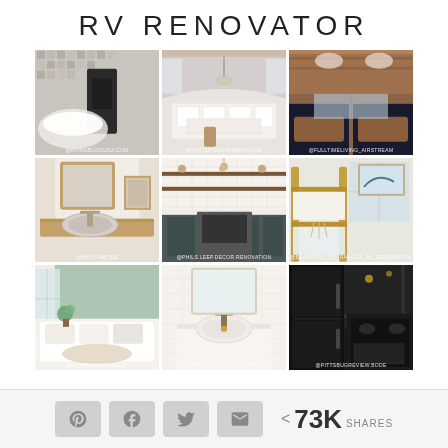RV RENOVATOR
[Figure (photo): 3x3 grid of RV interior renovation photos showing kitchens, bathrooms, and living spaces]
< 73K SHARES (Pinterest, Facebook, Twitter, Email share buttons)